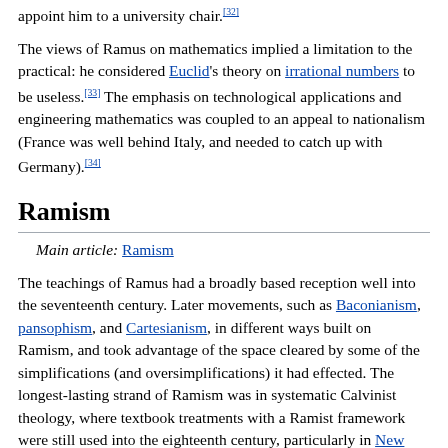appoint him to a university chair.[32]
The views of Ramus on mathematics implied a limitation to the practical: he considered Euclid's theory on irrational numbers to be useless.[33] The emphasis on technological applications and engineering mathematics was coupled to an appeal to nationalism (France was well behind Italy, and needed to catch up with Germany).[34]
Ramism
Main article: Ramism
The teachings of Ramus had a broadly based reception well into the seventeenth century. Later movements, such as Baconianism, pansophism, and Cartesianism, in different ways built on Ramism, and took advantage of the space cleared by some of the simplifications (and oversimplifications) it had effected. The longest-lasting strand of Ramism was in systematic Calvinist theology, where textbook treatments with a Ramist framework were still used into the eighteenth century, particularly in New England.
The first writings on Ramism, after the death of Ramus, included